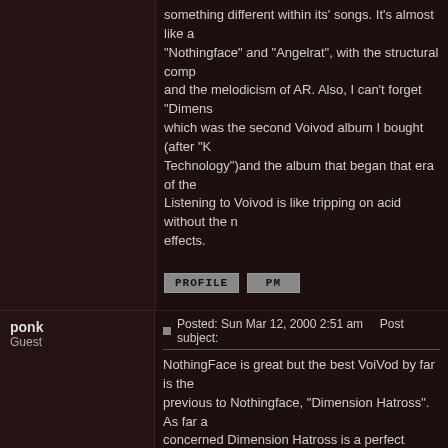something different within its' songs. It's almost like a "Nothingface" and "Angelrat", with the structural comp and the melodicism of AR. Also, I can't forget "Dimens which was the second Voivod album I bought (after "K Technology")and the album that began that era of the Listening to Voivod is like tripping on acid without the effects.
PROFILE  PM
ponk
Guest
Posted: Sun Mar 12, 2000 2:51 am    Post subject:
NothingFace is great but the best VoiVod by far is the previous to Nothingface, "Dimension Hatross". As far a concerned Dimension Hatross is a perfect album and there has never been repeated, even remotely, by any Dimension Hatross is also my favorite recording of all
nothingface
Helldriver
Joined: 06 Feb 2000
Posts: 401
Location: new orleans
Posted: Mon Mar 13, 2000 9:16 am    Post subject:
I read in a 1992 magazine that a mother was attemptin Voivod, claiming that the Nothingface album had cons She said that he holed himself up in his room, only car food, and listened to Nothingface over and over and o